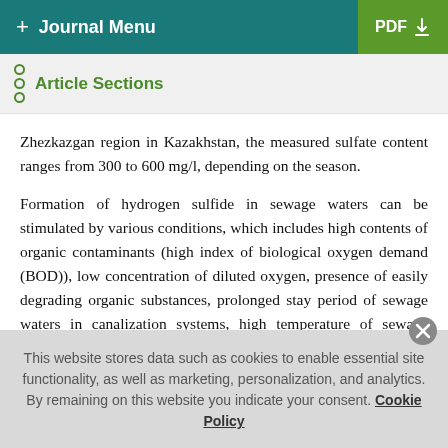+ Journal Menu | PDF
Article Sections
Zhezkazgan region in Kazakhstan, the measured sulfate content ranges from 300 to 600 mg/l, depending on the season.
Formation of hydrogen sulfide in sewage waters can be stimulated by various conditions, which includes high contents of organic contaminants (high index of biological oxygen demand (BOD)), low concentration of diluted oxygen, presence of easily degrading organic substances, prolonged stay period of sewage waters in canalization systems, high temperature of sewage waters, and low pH of sewage waters. Furthermore, hydrogen sulfide formation also depends on speed of water flow
This website stores data such as cookies to enable essential site functionality, as well as marketing, personalization, and analytics. By remaining on this website you indicate your consent. Cookie Policy